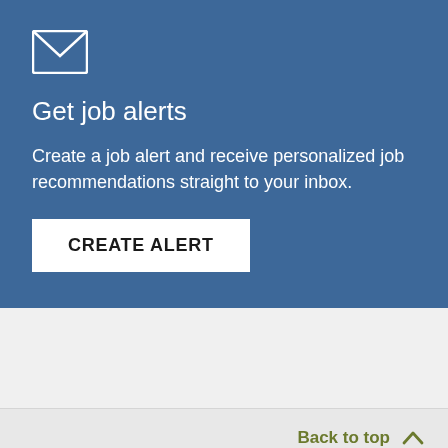[Figure (illustration): White envelope/mail icon on blue background]
Get job alerts
Create a job alert and receive personalized job recommendations straight to your inbox.
CREATE ALERT
Back to top
Do you have a question or feedback about Inside Higher Ed Careers?
Call us at 1-202-659-9208 or email our team